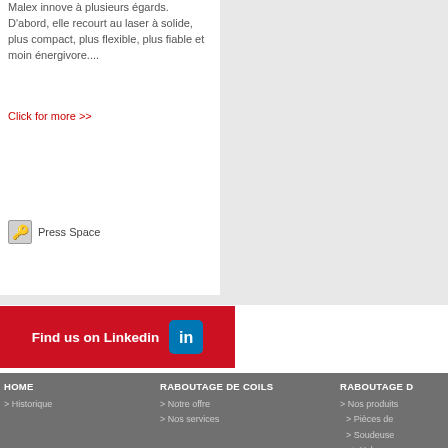Malex innove à plusieurs égards. D'abord, elle recourt au laser à solide, plus compact, plus flexible, plus fiable et moin énergivore....
Click for more >>
Press Space
[Figure (logo): Find us on Linkedin button with LinkedIn logo icon]
HOME | > Historique | RABOUTAGE DE COILS | > Notre offre | > Nos services | RABOUTAGE D... | > Nos produits | > Pièces de... | > Soudeuse... | > Hybw... | > Full L... | > Soudeuse... | > L.O.L... | > Narro... | > Prep-... | > Pres-... | > Flash...